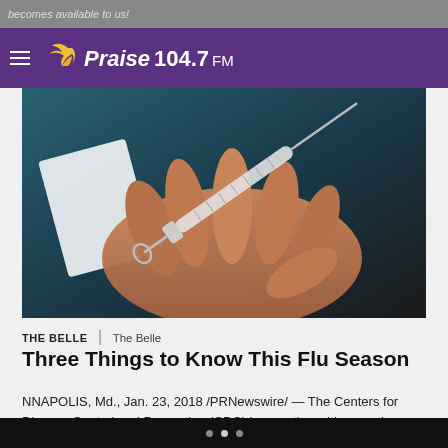becomes available to us!
Praise 104.7 FM
[Figure (photo): Close-up photo of a hand holding a medical syringe/injection needle, with a blurred teal/dark background and a white card/paper visible.]
THE BELLE  |  The Belle
Three Things to Know This Flu Season
NNAPOLIS, Md., Jan. 23, 2018 /PRNewswire/ — The Centers for Disease Control and Prevention (CDC) is reporting widespread influenza (flu) cases in 49 states. The flu thrives in cold, dry weather, and can be transmitted to another person from as far as